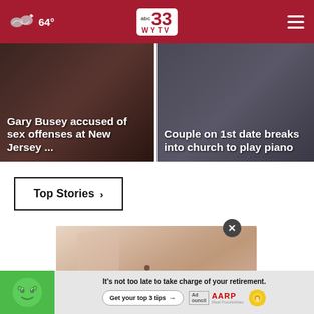64° abc33 WYTV
[Figure (photo): News thumbnail: Gary Busey accused of sex offenses at New Jersey... (dark background with text overlay)]
[Figure (photo): News thumbnail: Couple on 1st date breaks into church to play piano (dark background with text overlay)]
Top Stories ›
[Figure (photo): Close-up photo of a hand touching skin with a mole visible, with an X close button overlay]
[Figure (infographic): AARP advertisement banner: It's not too late to take charge of your retirement. Get your top 3 tips → Ad Council AARP Real Possibilities]